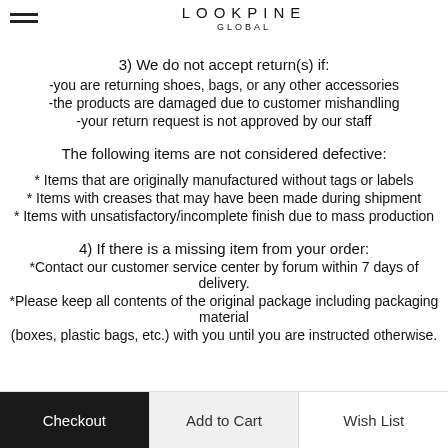it on the forum. The shipping fee will be refunded once the returned item has
LOOKPINE GLOBAL
3) We do not accept return(s) if:
-you are returning shoes, bags, or any other accessories
-the products are damaged due to customer mishandling
-your return request is not approved by our staff
The following items are not considered defective:
* Items that are originally manufactured without tags or labels
* Items with creases that may have been made during shipment
* Items with unsatisfactory/incomplete finish due to mass production
4) If there is a missing item from your order:
*Contact our customer service center by forum within 7 days of delivery.
*Please keep all contents of the original package including packaging material (boxes, plastic bags, etc.) with you until you are instructed otherwise.
Checkout | Add to Cart | Wish List